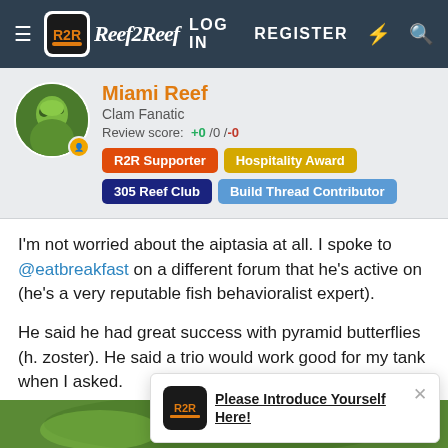Reef2Reef | LOG IN  REGISTER
Miami Reef
Clam Fanatic
Review score: +0 /0 /-0
R2R Supporter  Hospitality Award  305 Reef Club  Build Thread Contributor
I'm not worried about the aiptasia at all. I spoke to @eatbreakfast on a different forum that he's active on (he's a very reputable fish behavioralist expert).

He said he had great success with pyramid butterflies (h. zoster). He said a trio would work good for my tank when I asked.
Please Introduce Yourself Here!